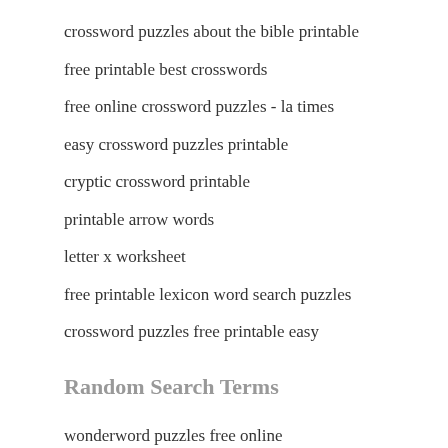crossword puzzles about the bible printable
free printable best crosswords
free online crossword puzzles - la times
easy crossword puzzles printable
cryptic crossword printable
printable arrow words
letter x worksheet
free printable lexicon word search puzzles
crossword puzzles free printable easy
Random Search Terms
wonderword puzzles free online
7 day printable crosswords